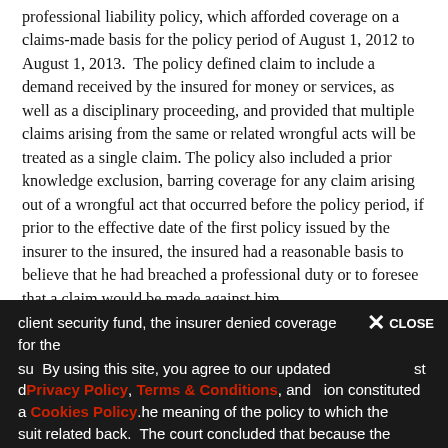professional liability policy, which afforded coverage on a claims-made basis for the policy period of August 1, 2012 to August 1, 2013.  The policy defined claim to include a demand received by the insured for money or services, as well as a disciplinary proceeding, and provided that multiple claims arising from the same or related wrongful acts will be treated as a single claim.  The policy also included a prior knowledge exclusion, barring coverage for any claim arising out of a wrongful act that occurred before the policy period, if prior to the effective date of the first policy issued by the insurer to the insured, the insured had a reasonable basis to believe that he had breached a professional duty or to foresee that a claim would be made against him.
In light of the earlier claim for compensation for the client security fund, the insurer denied coverage for the suit, claiming that the disciplinary proceeding constituted a claim within the meaning of the policy to which the suit related back.  The court concluded that because the
By using this site, you agree to our updated Privacy Policy, Terms & Conditions, and Cookies Policy.